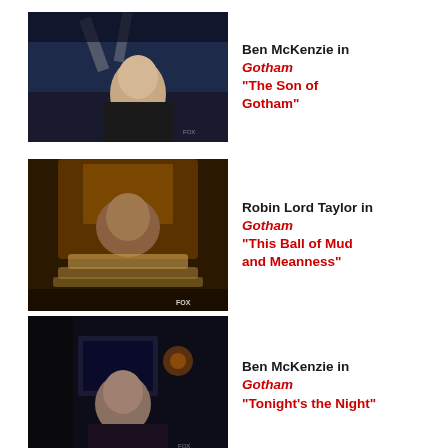[Figure (photo): Ben McKenzie in a scene from Gotham TV show, The Son of Gotham episode, dark moody night scene with metal structure]
Ben McKenzie in Gotham "The Son of Gotham"
[Figure (photo): Robin Lord Taylor in a scene from Gotham TV show, This Ball of Mud and Meanness episode, sitting on a throne-like chair wrapped in rope]
Robin Lord Taylor in Gotham "This Ball of Mud and Meanness"
[Figure (photo): Ben McKenzie in a scene from Gotham TV show, Tonight's the Night episode, dark bar or club scene]
Ben McKenzie in Gotham "Tonight's the Night"